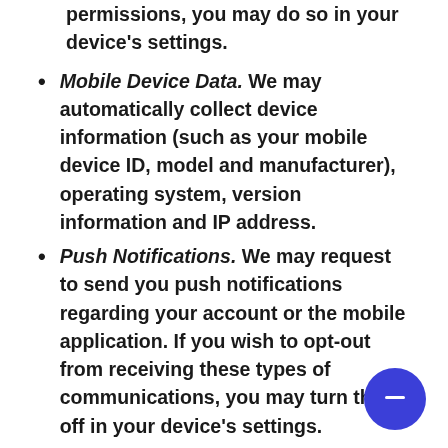permissions, you may do so in your device's settings.
Mobile Device Data. We may automatically collect device information (such as your mobile device ID, model and manufacturer), operating system, version information and IP address.
Push Notifications. We may request to send you push notifications regarding your account or the mobile application. If you wish to opt-out from receiving these types of communications, you may turn them off in your device's settings.
Facebook Permissions. We by default access your Facebook basic account information, including your name, email, gender, birthday, current city, and profile picture URL, as well other information that you choose to make public. We may also request access to other